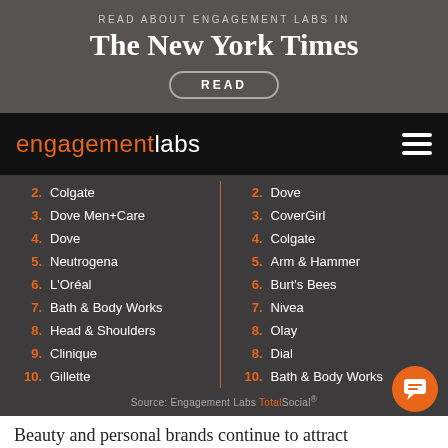READ ABOUT ENGAGEMENT LABS IN
The New York Times
READ
[Figure (logo): engagementlabs logo with orange 'engagement' and white 'labs' text on black nav bar]
2. Colgate
3. Dove Men+Care
4. Dove
5. Neutrogena
6. L'Oréal
7. Bath & Body Works
8. Head & Shoulders
9. Clinique
10. Gillette
2. Dove
3. CoverGirl
4. Colgate
5. Arm & Hammer
6. Burt's Bees
7. Nivea
8. Olay
8. Dial
10. Bath & Body Works
Source: Engagement Labs TotalSocial®
Beauty and personal brands continue to attract